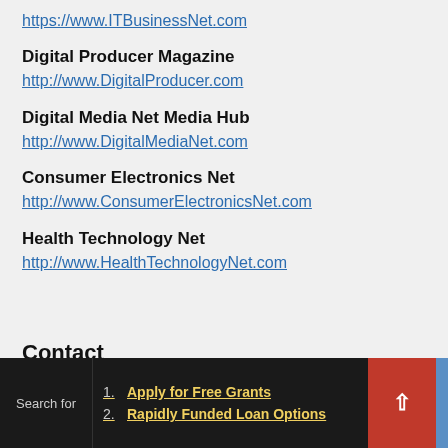https://www.ITBusinessNet.com
Digital Producer Magazine
http://www.DigitalProducer.com
Digital Media Net Media Hub
http://www.DigitalMediaNet.com
Consumer Electronics Net
http://www.ConsumerElectronicsNet.com
Health Technology Net
http://www.HealthTechnologyNet.com
Contact
Search for  1. Apply for Free Grants  2. Rapidly Funded Loan Options